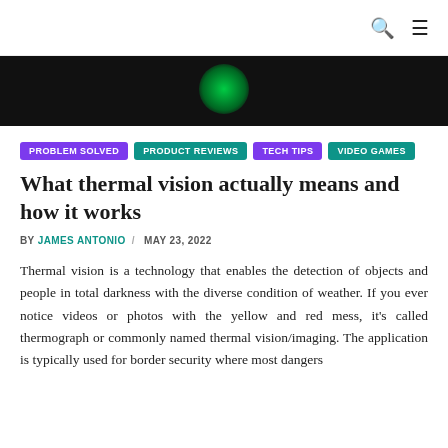Navigation bar with search and menu icons
[Figure (photo): Dark/black image strip with a green glowing element, partial view of a header image]
PROBLEM SOLVED
PRODUCT REVIEWS
TECH TIPS
VIDEO GAMES
What thermal vision actually means and how it works
BY JAMES ANTONIO / MAY 23, 2022
Thermal vision is a technology that enables the detection of objects and people in total darkness with the diverse condition of weather. If you ever notice videos or photos with the yellow and red mess, it's called thermograph or commonly named thermal vision/imaging. The application is typically used for border security where most dangers